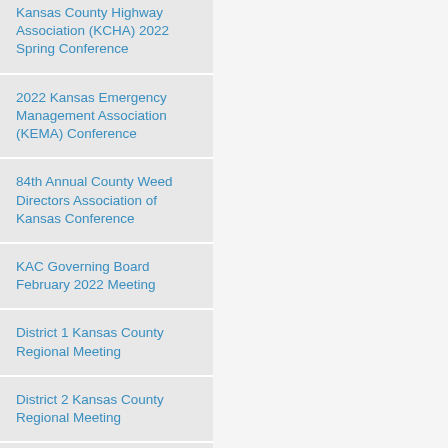Kansas County Highway Association (KCHA) 2022 Spring Conference
2022 Kansas Emergency Management Association (KEMA) Conference
84th Annual County Weed Directors Association of Kansas Conference
KAC Governing Board February 2022 Meeting
District 1 Kansas County Regional Meeting
District 2 Kansas County Regional Meeting
District 5 Kansas County Regional Meeting